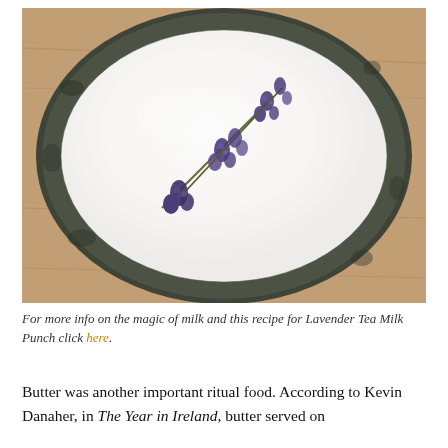[Figure (photo): A ceramic bowl filled with white milk, with two sprigs of purple lavender flowers resting on the surface of the milk. The bowl has a dark mottled glaze and sits on a wooden surface.]
For more info on the magic of milk and this recipe for Lavender Tea Milk Punch click here.
Butter was another important ritual food. According to Kevin Danaher, in The Year in Ireland, butter served on